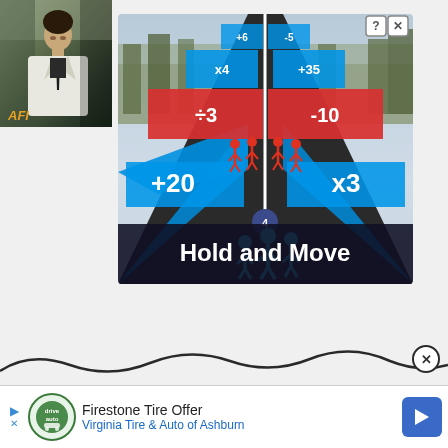[Figure (photo): Black and white photo of a man in a white jacket with AFI logo overlay]
[Figure (screenshot): Mobile game advertisement for 'Hold and Move' showing a 3D runner game with blue and red lanes, math operators (+20, x3, ÷3, -10, +6, -5, x4, +35), colored stick figures, and game title text. Has question mark and X close icons.]
[Figure (infographic): Wavy decorative line with circular X close button]
[Figure (infographic): Bottom ad banner: Firestone Tire Offer — Virginia Tire & Auto of Ashburn, with drive auto logo and navigation arrow icon]